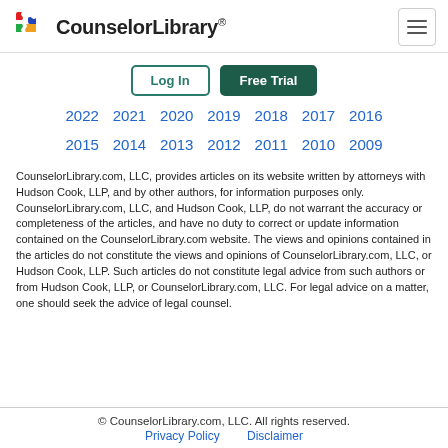CounselorLibrary® — navigation header with Log In and Free Trial buttons
2015  2014  2013  2012  2011  2010  2009
CounselorLibrary.com, LLC, provides articles on its website written by attorneys with Hudson Cook, LLP, and by other authors, for information purposes only. CounselorLibrary.com, LLC, and Hudson Cook, LLP, do not warrant the accuracy or completeness of the articles, and have no duty to correct or update information contained on the CounselorLibrary.com website. The views and opinions contained in the articles do not constitute the views and opinions of CounselorLibrary.com, LLC, or Hudson Cook, LLP. Such articles do not constitute legal advice from such authors or from Hudson Cook, LLP, or CounselorLibrary.com, LLC. For legal advice on a matter, one should seek the advice of legal counsel.
© CounselorLibrary.com, LLC. All rights reserved. Privacy Policy  Disclaimer